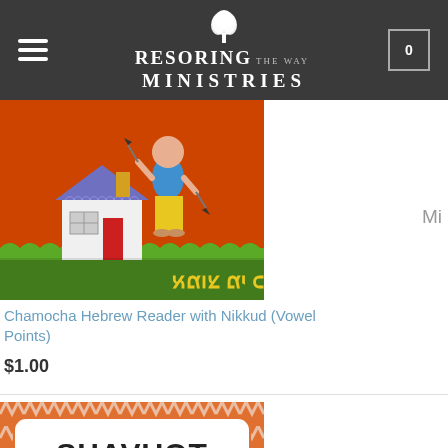Restoring the Way Ministries
[Figure (illustration): Book cover for Chamocha Hebrew Reader with Nikkud - shows a cartoon child in blue shirt and yellow pants standing by a house on green grass against orange background with Hebrew text]
Chamocha Hebrew Reader with Nikkud (Vowel Points)
$1.00
[Figure (illustration): Book cover for Shavuot and Chevron K-3 Math Theme Pack - orange and white chevron patterned background with bold black text on white rounded rectangle]